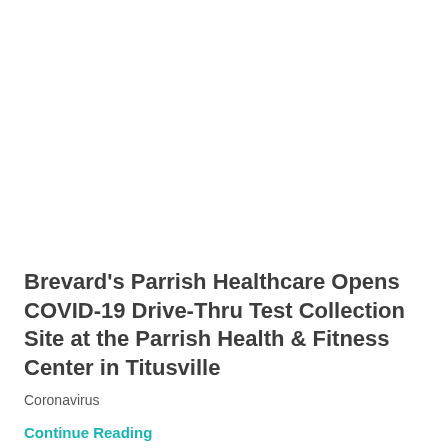Brevard's Parrish Healthcare Opens COVID-19 Drive-Thru Test Collection Site at the Parrish Health & Fitness Center in Titusville
Coronavirus
Continue Reading